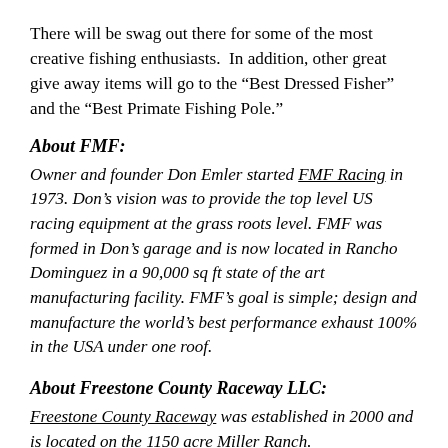There will be swag out there for some of the most creative fishing enthusiasts.  In addition, other great give away items will go to the “Best Dressed Fisher” and the “Best Primate Fishing Pole.”
About FMF:
Owner and founder Don Emler started FMF Racing in 1973. Don’s vision was to provide the top level US racing equipment at the grass roots level. FMF was formed in Don’s garage and is now located in Rancho Dominguez in a 90,000 sq ft state of the art manufacturing facility. FMF’s goal is simple; design and manufacture the world’s best performance exhaust 100% in the USA under one roof.
About Freestone County Raceway LLC:
Freestone County Raceway was established in 2000 and is located on the 1150 acre Miller Ranch.